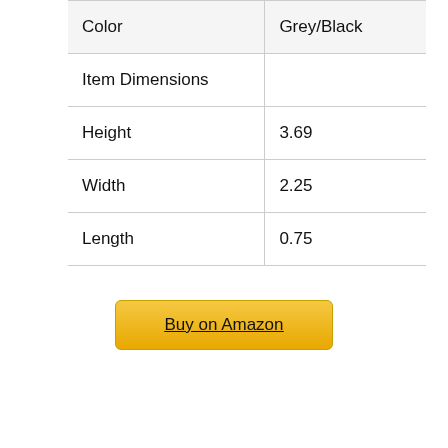|  |  |
| --- | --- |
| Color | Grey/Black |
| Item Dimensions |  |
| Height | 3.69 |
| Width | 2.25 |
| Length | 0.75 |
Buy on Amazon
6. ReceptXtenders Receptacle Outlet Box Extender, Electrical Outlet